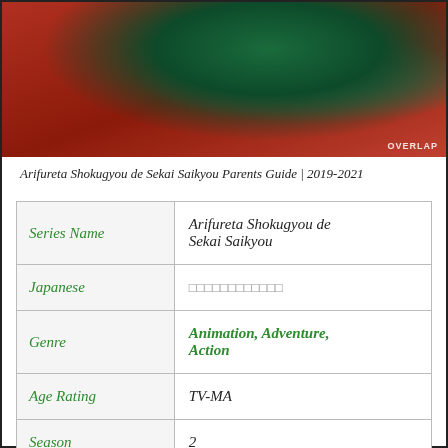[Figure (illustration): Anime key art for Arifureta Shokugyou de Sekai Saikyou showing a dark-clad character against a red background with mystical symbols]
Arifureta Shokugyou de Sekai Saikyou Parents Guide | 2019-2021
| Series Name | Arifureta Shokugyou de Sekai Saikyou |
| Japanese | □□□□□□□□□□□□ |
| Genre | Animation, Adventure, Action |
| Age Rating | TV-MA |
| Season | 2 |